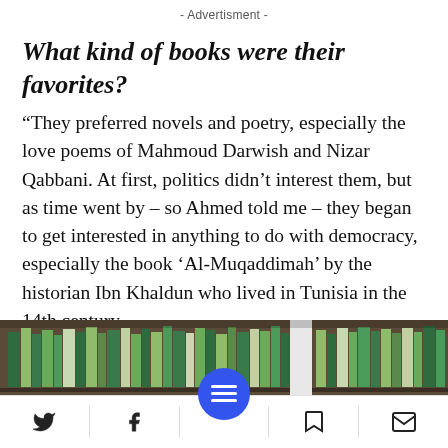- Advertisment -
What kind of books were their favorites?
“They preferred novels and poetry, especially the love poems of Mahmoud Darwish and Nizar Qabbani. At first, politics didn’t interest them, but as time went by – so Ahmed told me – they began to get interested in anything to do with democracy, especially the book ‘Al-Muqaddimah’ by the historian Ibn Khaldun who lived in Tunisia in the 14th century.
[Figure (photo): Photograph of bookshelves filled with books, viewed from below, showing rows of colorful book spines.]
Social sharing and navigation footer with Twitter, Facebook, menu, bookmark, and email icons.